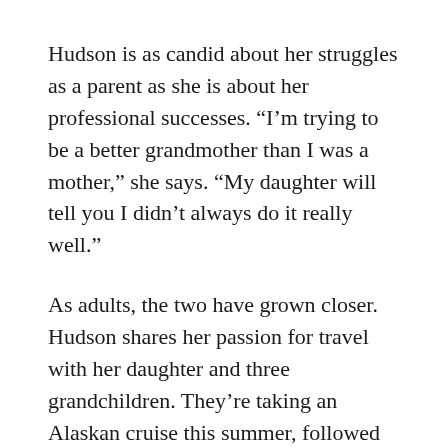Hudson is as candid about her struggles as a parent as she is about her professional successes. “I’m trying to be a better grandmother than I was a mother,” she says. “My daughter will tell you I didn’t always do it really well.”
As adults, the two have grown closer. Hudson shares her passion for travel with her daughter and three grandchildren. They’re taking an Alaskan cruise this summer, followed by a